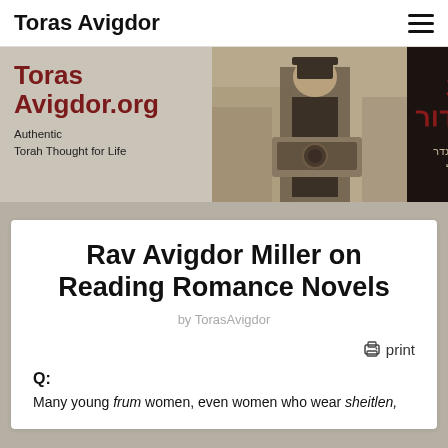Toras Avigdor
[Figure (photo): TorasAvigdor.org website banner showing the site title in dark red on the left, a black-and-white photograph of a rabbi in the center, and Hebrew text 'תורת אביגדור' with additional Hebrew text on the right dark panel.]
Rav Avigdor Miller on Reading Romance Novels
by TorasAvigdor
print
Q:
Many young frum women, even women who wear sheitlen,